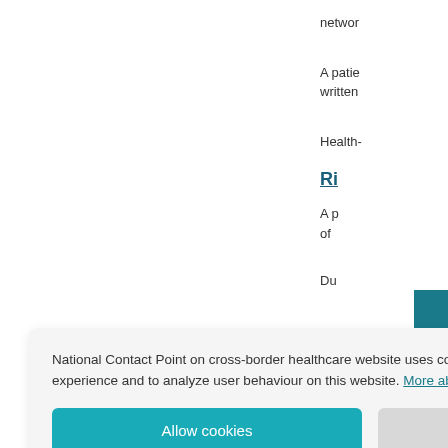networ
A patie
written
Health-
Ri
A p
of
Du
National Contact Point on cross-border healthcare website uses cookies to ensure best user experience and to analyze user behaviour on this website. More about cookies...
Allow cookies
Reject
A phys
manner
the pro
A patie